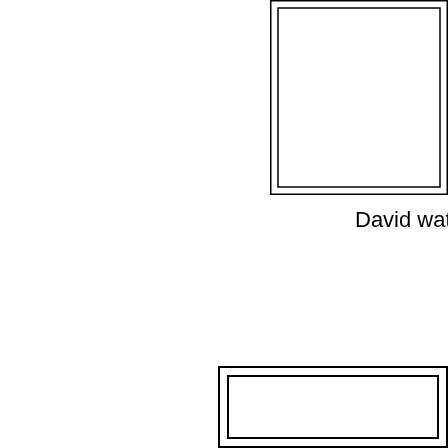[Figure (illustration): Partial view of a photo placeholder box (double-bordered rectangle) in upper right, cropped at right edge]
David watchin
[Figure (illustration): Partial view of a second photo placeholder box (double-bordered rectangle) in lower right, cropped at right edge]